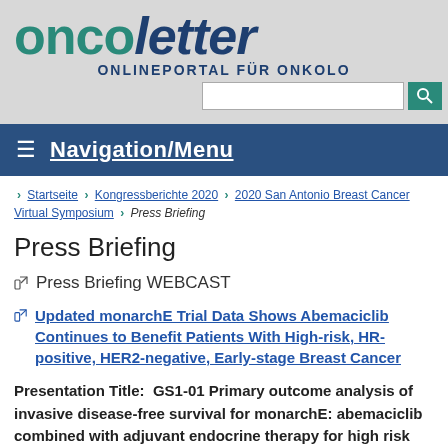[Figure (logo): Oncoletter logo with 'onco' in teal and 'letter' in dark blue italic, with subtitle 'ONLINEPORTAL FÜR ONKOLO...']
Navigation/Menu
Startseite › Kongressberichte 2020 › 2020 San Antonio Breast Cancer Virtual Symposium › Press Briefing
Press Briefing
↗ Press Briefing WEBCAST
↗ Updated monarchE Trial Data Shows Abemaciclib Continues to Benefit Patients With High-risk, HR-positive, HER2-negative, Early-stage Breast Cancer
Presentation Title:  GS1-01 Primary outcome analysis of invasive disease-free survival for monarchE: abemaciclib combined with adjuvant endocrine therapy for high risk early breast cancer